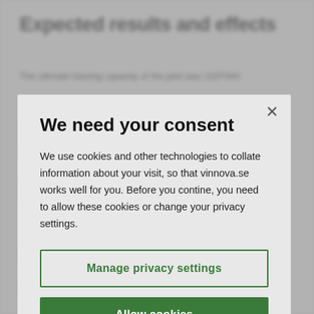Expected results and effects
The ultimate training capacity of the pilot was 100 TWH
Planned approach and
We need your consent
We use cookies and other technologies to collate information about your visit, so that vinnova.se works well for you. Before you contine, you need to allow these cookies or change your privacy settings.
Manage privacy settings
Allow cookies